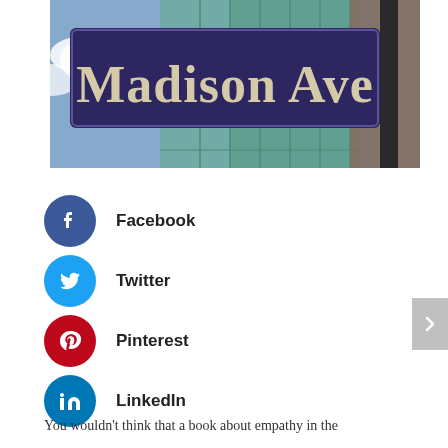[Figure (photo): Photo of a Madison Ave street sign (dark purple/navy background with white serif text reading 'Madison Ave') with a glass skyscraper and blue cloudy sky in the background]
Facebook
Twitter
Pinterest
LinkedIn
You wouldn't think that a book about empathy in the